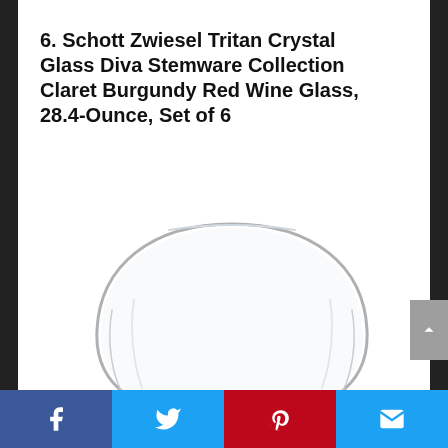6. Schott Zwiesel Tritan Crystal Glass Diva Stemware Collection Claret Burgundy Red Wine Glass, 28.4-Ounce, Set of 6
[Figure (photo): A clear crystal stemless wine glass (Schott Zwiesel Tritan Crystal Glass Diva Claret Burgundy Red Wine Glass) shown on a white background. The glass has a large round bowl shape with no stem visible in the cropped view.]
Social sharing bar with Facebook, Twitter, Pinterest, and Email icons